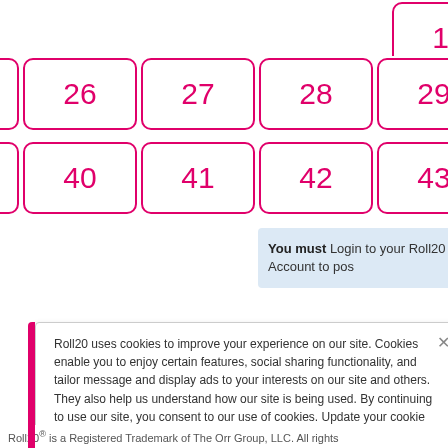| 15 | 16 | 17 | 18 |
| 24 | 25 | 26 | 27 | 28 | 29 | 30 | 31 | 32 |
| 38 | 39 | 40 | 41 | 42 | 43 | 44 | 45 | 46 |
You must Login to your Roll20 Account to post
Roll20 uses cookies to improve your experience on our site. Cookies enable you to enjoy certain features, social sharing functionality, and tailor message and display ads to your interests on our site and others. They also help us understand how our site is being used. By continuing to use our site, you consent to our use of cookies. Update your cookie preferences here.
Roll20® is a Registered Trademark of The Orr Group, LLC. All rights